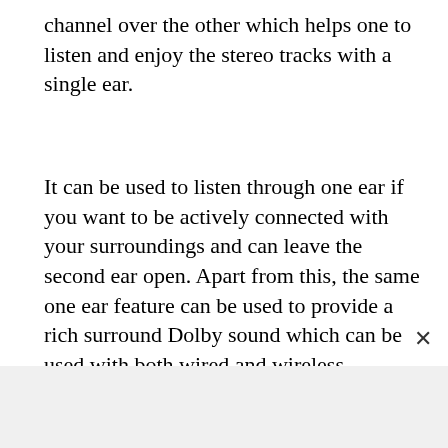channel over the other which helps one to listen and enjoy the stereo tracks with a single ear.
It can be used to listen through one ear if you want to be actively connected with your surroundings and can leave the second ear open. Apart from this, the same one ear feature can be used to provide a rich surround Dolby sound which can be used with both wired and wireless speakers.